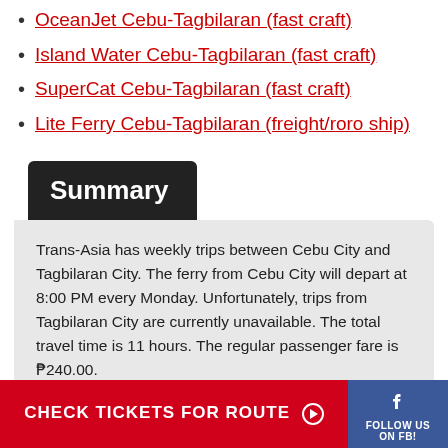OceanJet Cebu-Tagbilaran (fast craft)
Island Water Cebu-Tagbilaran (fast craft)
SuperCat Cebu-Tagbilaran (fast craft)
Lite Ferry Cebu-Tagbilaran (freight/roro ship)
Summary
Trans-Asia has weekly trips between Cebu City and Tagbilaran City. The ferry from Cebu City will depart at 8:00 PM every Monday. Unfortunately, trips from Tagbilaran City are currently unavailable. The total travel time is 11 hours. The regular passenger fare is ₱240.00.
This is just a quick summary of the page. Please scroll up to view the full content ↑
CHECK TICKETS FOR ROUTE →
FOLLOW US ON FB!